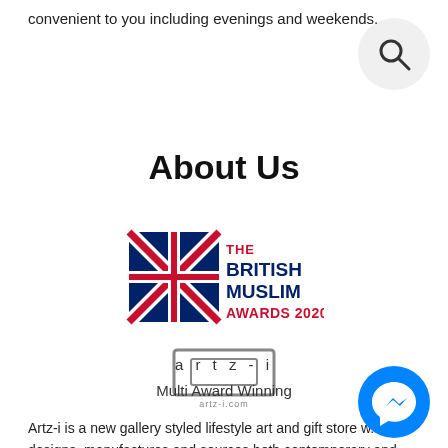convenient to you including evenings and weekends.
[Figure (other): Search icon - magnifying glass in a light grey circle]
About Us
[Figure (logo): The British Muslim Awards 2020 logo with Union Jack flag graphic]
[Figure (logo): artz-i.com logo - grey rectangular frame icon with text artz-i.com below]
a r t z - i
Multi Award Winning
Artz-i is a new gallery styled lifestyle art and gift store w... designs, manufactures and sources both contemporary and traditional high quality hand crafted artworks, gifts and other fine
[Figure (logo): Facebook Messenger icon - blue circle with white lightning bolt/chat symbol]